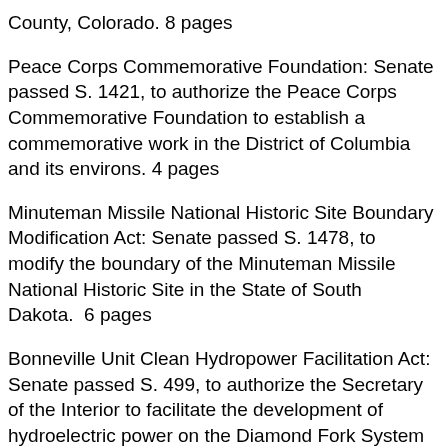County, Colorado. 8 pages
Peace Corps Commemorative Foundation: Senate passed S. 1421, to authorize the Peace Corps Commemorative Foundation to establish a commemorative work in the District of Columbia and its environs. 4 pages
Minuteman Missile National Historic Site Boundary Modification Act: Senate passed S. 1478, to modify the boundary of the Minuteman Missile National Historic Site in the State of South Dakota.  6 pages
Bonneville Unit Clean Hydropower Facilitation Act: Senate passed S. 499, to authorize the Secretary of the Interior to facilitate the development of hydroelectric power on the Diamond Fork System of the Central Utah Project. 6 pages
Sleeping Bear Dunes National Lakeshore Conservation